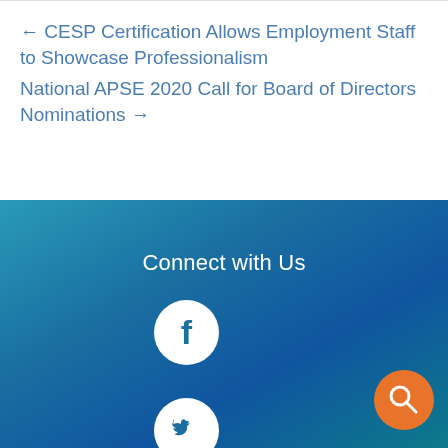← CESP Certification Allows Employment Staff to Showcase Professionalism
National APSE 2020 Call for Board of Directors Nominations →
Connect with Us
[Figure (illustration): Facebook icon - white circle with blue F logo]
[Figure (illustration): Twitter icon - white circle with blue bird logo (partially visible at bottom)]
[Figure (illustration): Orange circle with white magnifying glass search icon in bottom right]